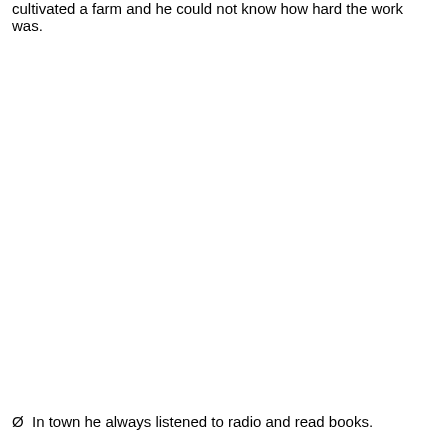cultivated a farm and he could not know how hard the work was.
Ø  In town he always listened to radio and read books.